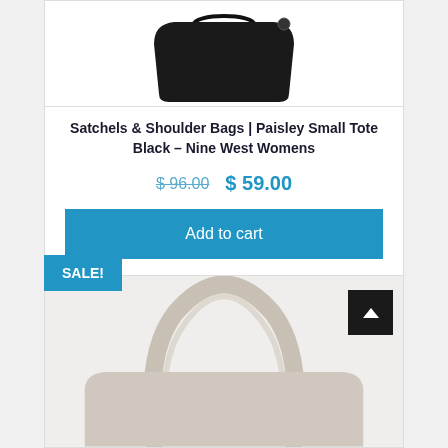[Figure (photo): Top portion of a black tote bag on white background]
Satchels & Shoulder Bags | Paisley Small Tote Black – Nine West Womens
$ 96.00  $ 59.00
Add to cart
SALE!
[Figure (photo): Light gray/white tote bag with handles visible, partial view from top]